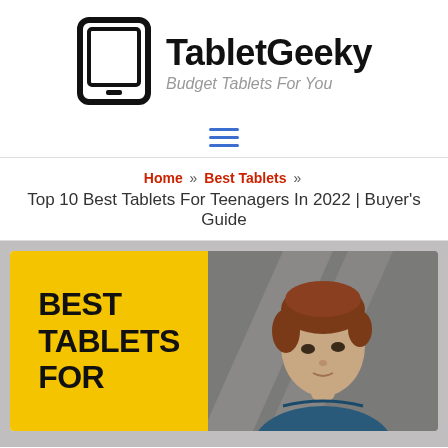[Figure (logo): TabletGeeky logo: tablet icon on left, bold text 'TabletGeeky' and italic subtitle 'Budget Tablets For You' on right]
Menu navigation hamburger icon (three horizontal blue lines)
Home » Best Tablets » Top 10 Best Tablets For Teenagers In 2022 | Buyer's Guide
[Figure (photo): Article featured image split in two halves: left yellow panel with bold black text 'BEST TABLETS FOR', right half shows a photo of a teenage boy looking upward]